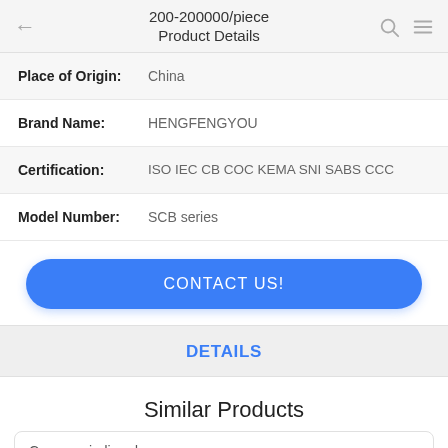200-200000/piece Product Details
| Field | Value |
| --- | --- |
| Place of Origin: | China |
| Brand Name: | HENGFENGYOU |
| Certification: | ISO IEC CB COC KEMA SNI SABS CCC |
| Model Number: | SCB series |
CONTACT US!
DETAILS
Similar Products
Copper winding dry